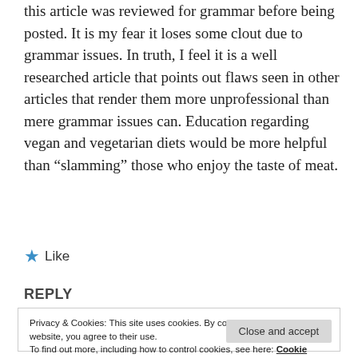this article was reviewed for grammar before being posted. It is my fear it loses some clout due to grammar issues. In truth, I feel it is a well researched article that points out flaws seen in other articles that render them more unprofessional than mere grammar issues can. Education regarding vegan and vegetarian diets would be more helpful than “slamming” those who enjoy the taste of meat.
★ Like
REPLY
Privacy & Cookies: This site uses cookies. By continuing to use this website, you agree to their use.
To find out more, including how to control cookies, see here: Cookie Policy
Close and accept